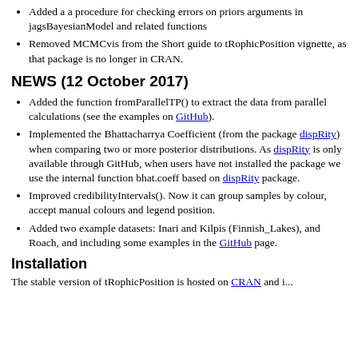Added a a procedure for checking errors on priors arguments in jagsBayesianModel and related functions
Removed MCMCvis from the Short guide to tRophicPosition vignette, as that package is no longer in CRAN.
NEWS (12 October 2017)
Added the function fromParallelTP() to extract the data from parallel calculations (see the examples on GitHub).
Implemented the Bhattacharrya Coefficient (from the package dispRity) when comparing two or more posterior distributions. As dispRity is only available through GitHub, when users have not installed the package we use the internal function bhat.coeff based on dispRity package.
Improved credibilityIntervals(). Now it can group samples by colour, accept manual colours and legend position.
Added two example datasets: Inari and Kilpis (Finnish_Lakes), and Roach, and including some examples in the GitHub page.
Installation
The stable version of tRophicPosition is hosted on CRAN and i...